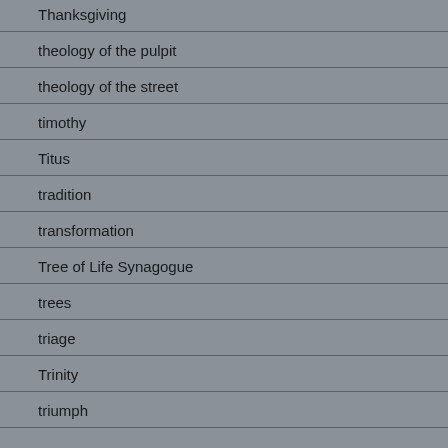Thanksgiving
theology of the pulpit
theology of the street
timothy
Titus
tradition
transformation
Tree of Life Synagogue
trees
triage
Trinity
triumph